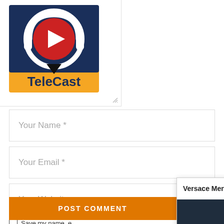[Figure (logo): TeleCast logo with headphones and play button on dark blue background with yellow footer bar]
Your Name *
Your Email *
Your Website
Save my name, ... next time I comme...
POST COMMENT
[Figure (screenshot): Video popup panel with title 'Versace Men's Fall Winter 2…' and a dark photo of a person with a camera with a play button overlay]